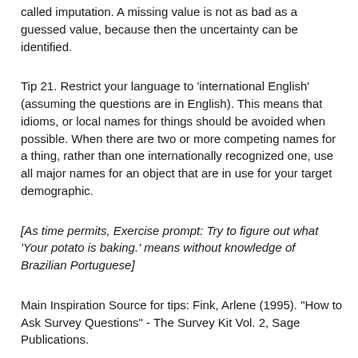called imputation. A missing value is not as bad as a guessed value, because then the uncertainty can be identified.
Tip 21. Restrict your language to 'international English' (assuming the questions are in English). This means that idioms, or local names for things should be avoided when possible. When there are two or more competing names for a thing, rather than one internationally recognized one, use all major names for an object that are in use for your target demographic.
[As time permits, Exercise prompt: Try to figure out what 'Your potato is baking.' means without knowledge of Brazilian Portuguese]
Main Inspiration Source for tips: Fink, Arlene (1995). "How to Ask Survey Questions" - The Survey Kit Vol. 2, Sage Publications.